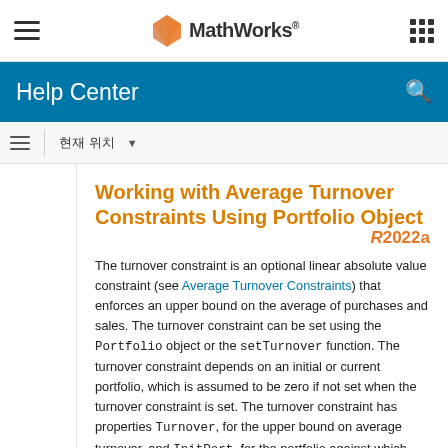MathWorks Help Center
Help Center
현재 위치
Working with Average Turnover Constraints Using Portfolio Object R2022a
The turnover constraint is an optional linear absolute value constraint (see Average Turnover Constraints) that enforces an upper bound on the average of purchases and sales. The turnover constraint can be set using the Portfolio object or the setTurnover function. The turnover constraint depends on an initial or current portfolio, which is assumed to be zero if not set when the turnover constraint is set. The turnover constraint has properties Turnover, for the upper bound on average turnover, and InitPort, for the portfolio against which turnover is computed.